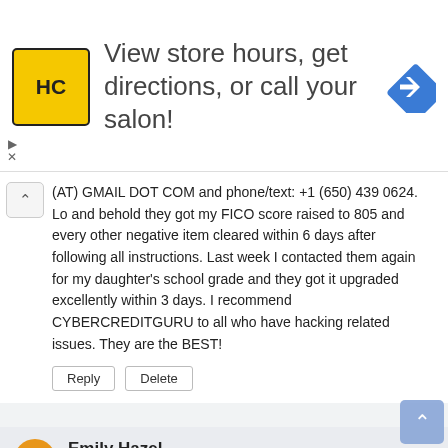[Figure (illustration): Advertisement banner with HC salon logo (yellow square with HC text), headline text 'View store hours, get directions, or call your salon!' and a blue navigation arrow icon on the right]
(AT) GMAIL DOT COM and phone/text: +1 (650) 439 0624. Lo and behold they got my FICO score raised to 805 and every other negative item cleared within 6 days after following all instructions. Last week I contacted them again for my daughter's school grade and they got it upgraded excellently within 3 days. I recommend CYBERCREDITGURU to all who have hacking related issues. They are the BEST!
Reply
Delete
Emily Hazel
20 January 2022 at 00:15
My score was raised to 802 and all the derogatory marks such as hard inquiries, collections, chapter 7, bankruptcy and late payments got deleted and also cleaned up my debts of $83,211 from my credit report by the help of this reliable and trusted credit expert called SKYLINK CYBER